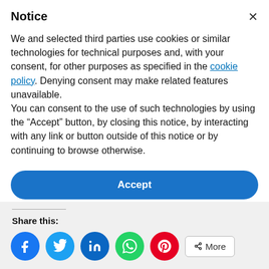Notice
We and selected third parties use cookies or similar technologies for technical purposes and, with your consent, for other purposes as specified in the cookie policy. Denying consent may make related features unavailable.
You can consent to the use of such technologies by using the “Accept” button, by closing this notice, by interacting with any link or button outside of this notice or by continuing to browse otherwise.
Accept
Learn more and customize
Share this:
[Figure (infographic): Row of social share icon buttons: Facebook (blue), Twitter (blue), LinkedIn (dark blue), WhatsApp (green), Pinterest (red), and a More button with share icon.]